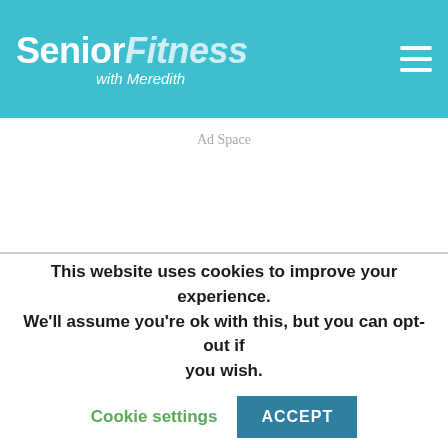[Figure (logo): Senior Fitness with Meredith logo in white text on teal background, with hamburger menu icon on right]
Ad Space
This website uses cookies to improve your experience. We'll assume you're ok with this, but you can opt-out if you wish.
Cookie settings
ACCEPT